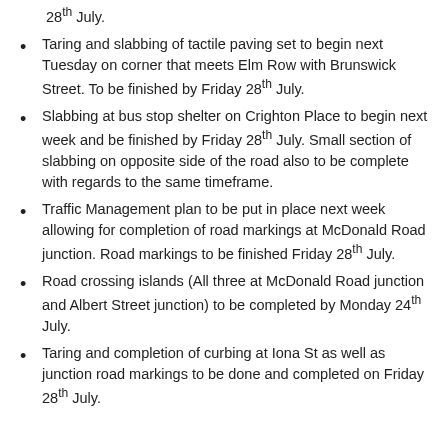28th July.
Taring and slabbing of tactile paving set to begin next Tuesday on corner that meets Elm Row with Brunswick Street. To be finished by Friday 28th July.
Slabbing at bus stop shelter on Crighton Place to begin next week and be finished by Friday 28th July. Small section of slabbing on opposite side of the road also to be complete with regards to the same timeframe.
Traffic Management plan to be put in place next week allowing for completion of road markings at McDonald Road junction. Road markings to be finished Friday 28th July.
Road crossing islands (All three at McDonald Road junction and Albert Street junction) to be completed by Monday 24th July.
Taring and completion of curbing at Iona St as well as junction road markings to be done and completed on Friday 28th July.